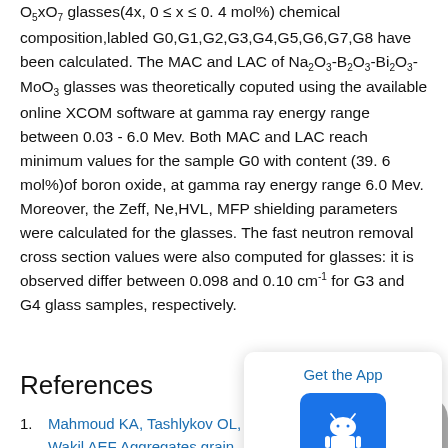O5xO7 glasses(4x, 0 ≤ x ≤ 0. 4 mol%) chemical composition,labled G0,G1,G2,G3,G4,G5,G6,G7,G8 have been calculated. The MAC and LAC of Na2O3-B2O3-Bi2O3-MoO3 glasses was theoretically coputed using the available online XCOM software at gamma ray energy range between 0.03 - 6.0 Mev. Both MAC and LAC reach minimum values for the sample G0 with content (39. 6 mol%)of boron oxide, at gamma ray energy range 6.0 Mev. Moreover, the Zeff, Ne,HVL, MFP shielding parameters were calculated for the glasses. The fast neutron removal cross section values were also computed for glasses: it is observed differ between 0.098 and 0.10 cm-1 for G3 and G4 glass samples, respectively.
References
Mahmoud KA, Tashlykov OL, Wakil AEF. Aggregates grain size and press rate dependence of the shielding parameters for some concretes. Prog Nucl Energy.